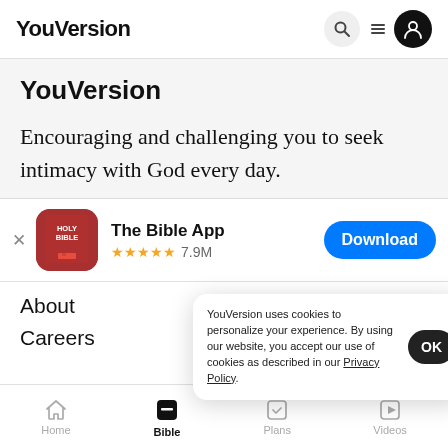YouVersion
YouVersion
Encouraging and challenging you to seek intimacy with God every day.
[Figure (screenshot): App store banner showing The Bible App icon (red Holy Bible book), name 'The Bible App', star rating 5 stars 7.9M reviews, and a blue Download button]
About
Careers
YouVersion uses cookies to personalize your experience. By using our website, you accept our use of cookies as described in our Privacy Policy.
Home | Bible | Plans | Videos